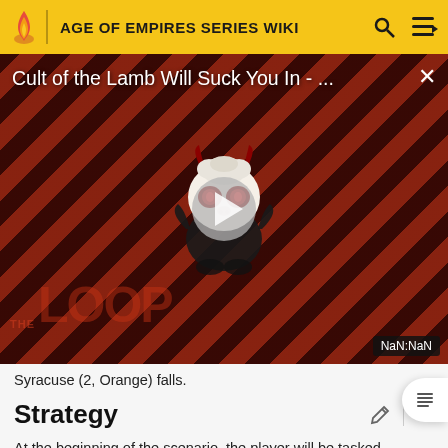AGE OF EMPIRES SERIES WIKI
[Figure (screenshot): Video thumbnail for 'Cult of the Lamb Will Suck You In - ...' on The Loop, with diagonal red/dark stripes background, a cartoon devil/lamb mascot character, a play button in the center, and NaN:NaN timestamp badge in the lower right.]
Syracuse (2, Orange) falls.
Strategy
At the beginning of the scenario, the player will be tasked